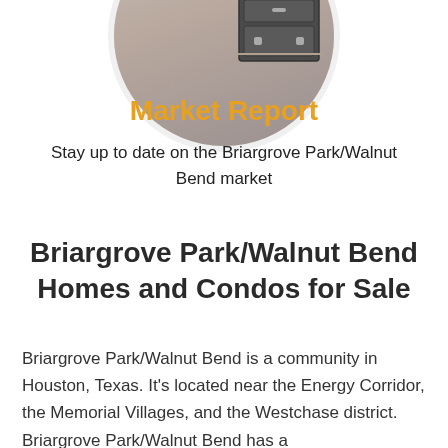[Figure (photo): Circular cropped photo of a room interior showing a wooden floor and dark dresser/drawer unit]
Market Report
Stay up to date on the Briargrove Park/Walnut Bend market
Briargrove Park/Walnut Bend Homes and Condos for Sale
Briargrove Park/Walnut Bend is a community in Houston, Texas. It's located near the Energy Corridor, the Memorial Villages, and the Westchase district. Briargrove Park/Walnut Bend has a